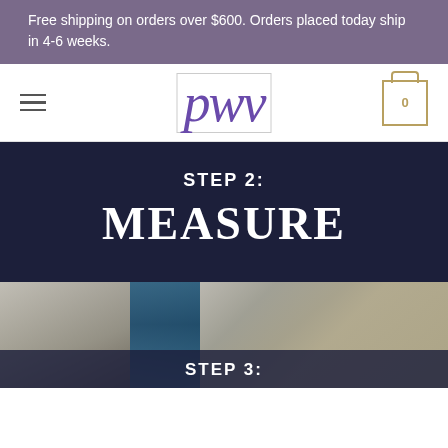Free shipping on orders over $600. Orders placed today ship in 4-6 weeks.
[Figure (logo): PWV logo in italic purple serif font inside a bordered box, with hamburger menu icon on left and cart icon (showing 0) on right]
STEP 2:
MEASURE
[Figure (photo): Close-up photograph of decorative fabric/quilts with blue, cream, and patterned textiles on a wooden surface, partially overlaid by a dark semi-transparent box showing STEP 3:]